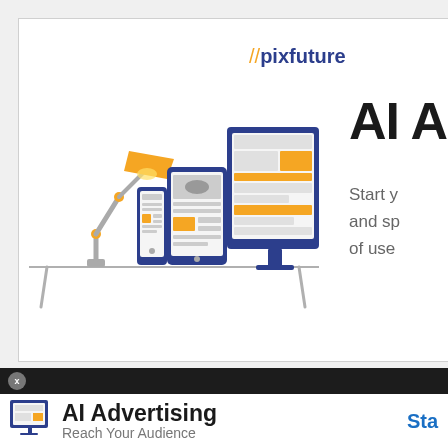[Figure (screenshot): pixfuture AI Advertising banner ad showing a desk lamp illustration alongside phone, tablet, and desktop monitor devices displaying content layouts. Text reads '//pixfuture' in orange/blue, 'AI A' (truncated headline), 'Start y... and sp... of use...' (truncated body text). White background with light border.]
[Figure (screenshot): Bottom ad banner strip with dark separator bar containing an X close button. Below: device icon on left, bold text 'AI Advertising' with subtitle 'Reach Your Audience', and blue 'Sta...' CTA button on right. White background.]